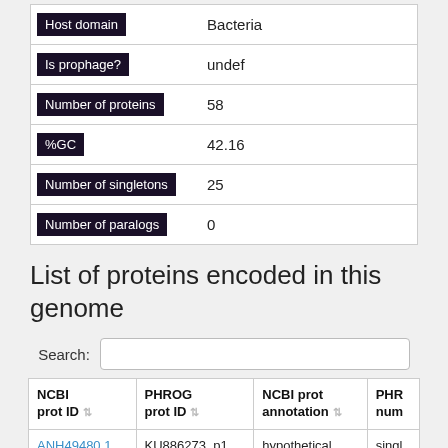| Field | Value |
| --- | --- |
| Host domain | Bacteria |
| Is prophage? | undef |
| Number of proteins | 58 |
| %GC | 42.16 |
| Number of singletons | 25 |
| Number of paralogs | 0 |
List of proteins encoded in this genome
| NCBI prot ID | PHROG prot ID | NCBI prot annotation | PHRO num |
| --- | --- | --- | --- |
| ANH49480.1 | KU886273_p1 | hypothetical protein | singl |